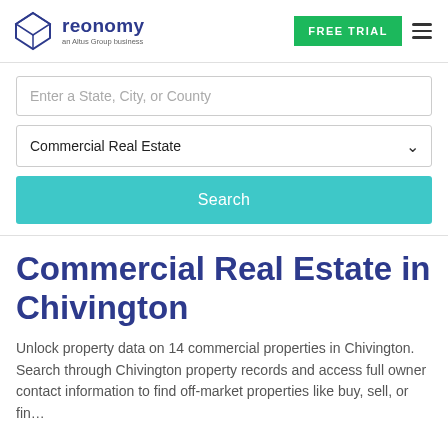[Figure (logo): Reonomy logo - geometric diamond/cube shape in dark blue outline, with text 'reonomy' in dark blue and 'an Altus Group business' in small gray text below]
FREE TRIAL
Enter a State, City, or County
Commercial Real Estate
Search
Commercial Real Estate in Chivington
Unlock property data on 14 commercial properties in Chivington. Search through Chivington property records and access full owner contact information to find off-market properties like buy, sell, or fin...